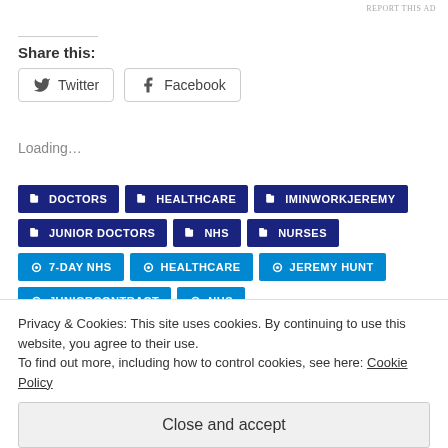REPORT THIS AD
Share this:
Twitter   Facebook
Loading…
DOCTORS
HEALTHCARE
IMINWORKJEREMY
JUNIOR DOCTORS
NHS
NURSES
7-DAY NHS
HEALTHCARE
JEREMY HUNT
JUNIORCONTRACT
NHS
Privacy & Cookies: This site uses cookies. By continuing to use this website, you agree to their use.
To find out more, including how to control cookies, see here: Cookie Policy
Close and accept